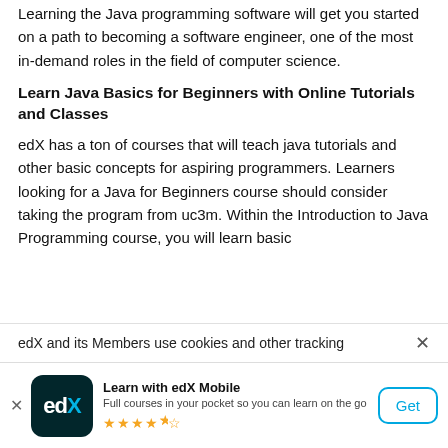Learning the Java programming software will get you started on a path to becoming a software engineer, one of the most in-demand roles in the field of computer science.
Learn Java Basics for Beginners with Online Tutorials and Classes
edX has a ton of courses that will teach java tutorials and other basic concepts for aspiring programmers. Learners looking for a Java for Beginners course should consider taking the program from uc3m. Within the Introduction to Java Programming course, you will learn basic
edX and its Members use cookies and other tracking
[Figure (logo): edX mobile app banner with edX logo, 'Learn with edX Mobile' title, subtitle 'Full courses in your pocket so you can learn on the go', star rating of 4.5 stars, and a 'Get' button]